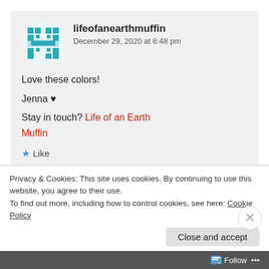[Figure (illustration): Teal/blue pixelated square avatar icon with geometric cross/grid pattern]
lifeofanearthmuffin
December 29, 2020 at 6:48 pm
Love these colors!
Jenna ♥
Stay in touch? Life of an Earth Muffin
★ Like
Reply
[Figure (photo): Partial circular profile photo of a person, partially visible at bottom]
Privacy & Cookies: This site uses cookies. By continuing to use this website, you agree to their use.
To find out more, including how to control cookies, see here: Cookie Policy
Close and accept
Follow